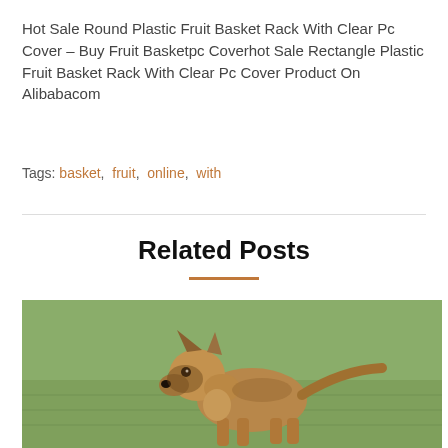Hot Sale Round Plastic Fruit Basket Rack With Clear Pc Cover – Buy Fruit Basketpc Coverhot Sale Rectangle Plastic Fruit Basket Rack With Clear Pc Cover Product On Alibabacom
Tags: basket, fruit, online, with
Related Posts
[Figure (photo): A Belgian Malinois puppy standing on grass, facing slightly left, with alert ears and tail raised]